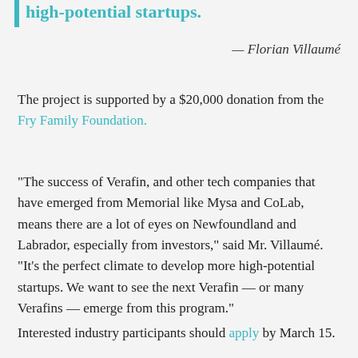high-potential startups.
— Florian Villaumé
The project is supported by a $20,000 donation from the Fry Family Foundation.
“The success of Verafin, and other tech companies that have emerged from Memorial like Mysa and CoLab, means there are a lot of eyes on Newfoundland and Labrador, especially from investors,” said Mr. Villaumé. “It’s the perfect climate to develop more high-potential startups. We want to see the next Verafin — or many Verafins — emerge from this program.”
Interested industry participants should apply by March 15.